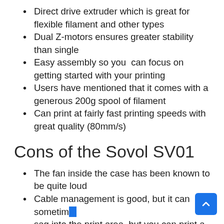Direct drive extruder which is great for flexible filament and other types
Dual Z-motors ensures greater stability than single
Easy assembly so you can focus on getting started with your printing
Users have mentioned that it comes with a generous 200g spool of filament
Can print at fairly fast printing speeds with great quality (80mm/s)
Cons of the Sovol SV01
The fan inside the case has been known to be quite loud
Cable management is good, but it can sometimes sag into the print area, but you can print a cable chain to solve this issue.